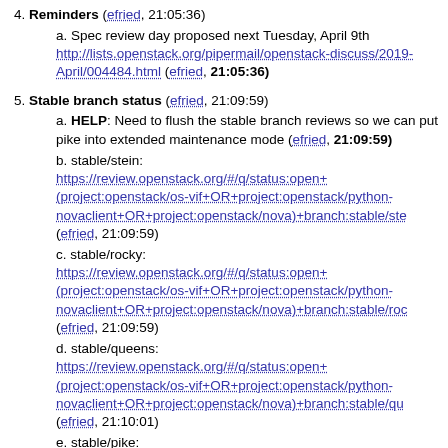4. Reminders (efried, 21:05:36)
a. Spec review day proposed next Tuesday, April 9th http://lists.openstack.org/pipermail/openstack-discuss/2019-April/004484.html (efried, 21:05:36)
5. Stable branch status (efried, 21:09:59)
a. HELP: Need to flush the stable branch reviews so we can put pike into extended maintenance mode (efried, 21:09:59)
b. stable/stein: https://review.openstack.org/#/q/status:open+(project:openstack/os-vif+OR+project:openstack/python-novaclient+OR+project:openstack/nova)+branch:stable/ste (efried, 21:09:59)
c. stable/rocky: https://review.openstack.org/#/q/status:open+(project:openstack/os-vif+OR+project:openstack/python-novaclient+OR+project:openstack/nova)+branch:stable/roc (efried, 21:09:59)
d. stable/queens: https://review.openstack.org/#/q/status:open+(project:openstack/os-vif+OR+project:openstack/python-novaclient+OR+project:openstack/nova)+branch:stable/qu (efried, 21:10:01)
e. stable/pike: https://review.openstack.org/#/q/status:open+(project:openstack/os-vif+OR+project:openstack/python-novaclient+OR+project:openstack/nova)+branch:stable/pik